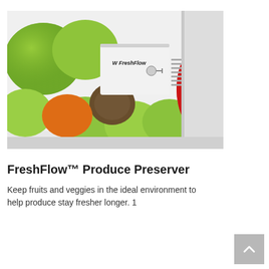[Figure (photo): A FreshFlow produce preserver device (white rectangular unit with logo) placed inside a refrigerator crisper drawer filled with green apples, kiwi, and a red pepper.]
FreshFlow™ Produce Preserver
Keep fruits and veggies in the ideal environment to help produce stay fresher longer. 1